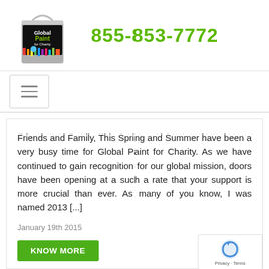[Figure (logo): Global Paint for Charity paint can logo with colorful paint drips]
855-853-7772
[Figure (other): Hamburger/menu navigation button]
Friends and Family, This Spring and Summer have been a very busy time for Global Paint for Charity. As we have continued to gain recognition for our global mission, doors have been opening at a such a rate that your support is more crucial than ever. As many of you know, I was named 2013 [...]
January 19th 2015
KNOW MORE
[Figure (other): Google reCAPTCHA badge with privacy and terms links]